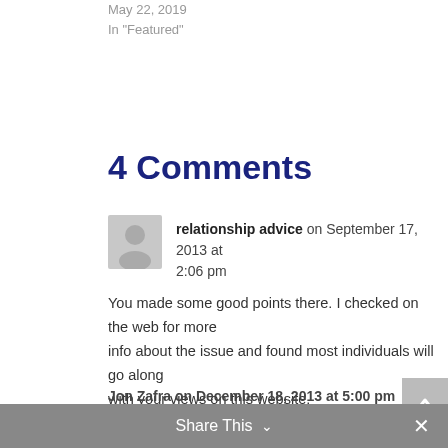May 22, 2019
In "Featured"
4 Comments
relationship advice on September 17, 2013 at 2:06 pm
You made some good points there. I checked on the web for more info about the issue and found most individuals will go along with your views on this website.
Reply
Share This
Jon Zafra on December 18, 2013 at 5:00 pm